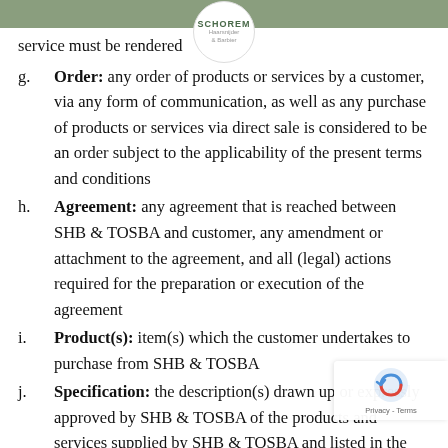SCHOREM
service must be rendered
g.      Order: any order of products or services by a customer, via any form of communication, as well as any purchase of products or services via direct sale is considered to be an order subject to the applicability of the present terms and conditions
h.      Agreement: any agreement that is reached between SHB & TOSBA and customer, any amendment or attachment to the agreement, and all (legal) actions required for the preparation or execution of the agreement
i.      Product(s): item(s) which the customer undertakes to purchase from SHB & TOSBA
j.      Specification: the description(s) drawn up or expressly approved by SHB & TOSBA of the products and services supplied by SHB & TOSBA and listed in the order or agreement. In the absence of such a specification, the description of what has been expressly agreed upon by the